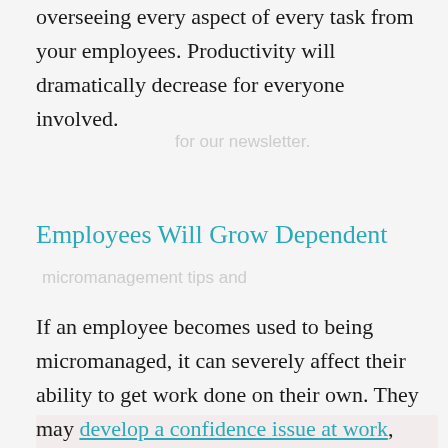overseeing every aspect of every task from your employees. Productivity will dramatically decrease for everyone involved.
Employees Will Grow Dependent
If an employee becomes used to being micromanaged, it can severely affect their ability to get work done on their own. They may develop a confidence issue at work, assuming that they do not have the skills to handle a project on their own. It's important for managers to remember that every employee was hired because of their skillset and their ability to handle the job. Giving them the freedom to work through tasks on their own will